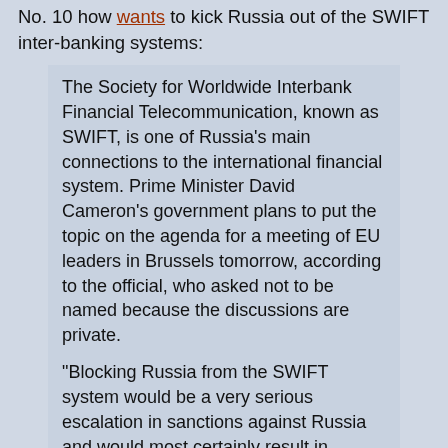No. 10 how wants to kick Russia out of the SWIFT inter-banking systems:
The Society for Worldwide Interbank Financial Telecommunication, known as SWIFT, is one of Russia's main connections to the international financial system. Prime Minister David Cameron's government plans to put the topic on the agenda for a meeting of EU leaders in Brussels tomorrow, according to the official, who asked not to be named because the discussions are private.
“Blocking Russia from the SWIFT system would be a very serious escalation in sanctions against Russia and would most certainly result in equally tough retaliatory actions by Russia,” said Chris Weafer, a senior partner at Moscow-based consulting firm Macro Advisory. “An exclusion from SWIFT would not block major trade deals but would cause problems in cross-border banking and that would disrupt trade flows.”
"Trade flows" in this case are gas supplies from Russia needed in Europe throughout the winter. If the gas bill can not be paid because Russia gets kicked out of SWIFT the spice will not flow. Only the U.K..